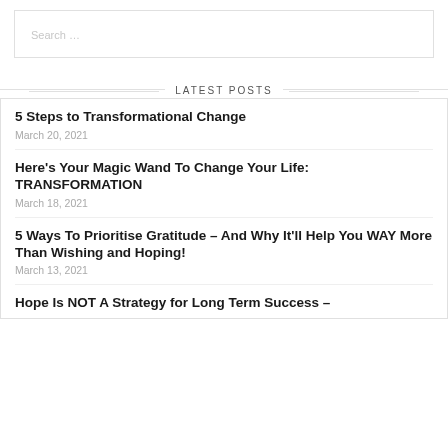[Figure (other): Search input box with placeholder text 'Search ...']
LATEST POSTS
5 Steps to Transformational Change
March 20, 2021
Here's Your Magic Wand To Change Your Life: TRANSFORMATION
March 18, 2021
5 Ways To Prioritise Gratitude – And Why It'll Help You WAY More Than Wishing and Hoping!
March 13, 2021
Hope Is NOT A Strategy for Long Term Success –